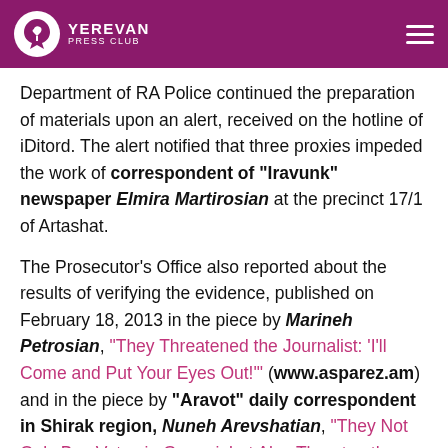YEREVAN PRESS CLUB
Department of RA Police continued the preparation of materials upon an alert, received on the hotline of iDitord. The alert notified that three proxies impeded the work of correspondent of "Iravunk" newspaper Elmira Martirosian at the precinct 17/1 of Artashat.
The Prosecutor's Office also reported about the results of verifying the evidence, published on February 18, 2013 in the piece by Marineh Petrosian, "They Threatened the Journalist: 'I'll Come and Put Your Eyes Out!'" (www.asparez.am) and in the piece by "Aravot" daily correspondent in Shirak region, Nuneh Arevshatian, "They Not Only Buy Votes in Gyumri, but Also Threaten the Journalists: 'If You Shoot, I'll Break Your Neck!'". The Investigative Department of RA Police of Shirak Region decided not to institute criminal proceedings on any of the